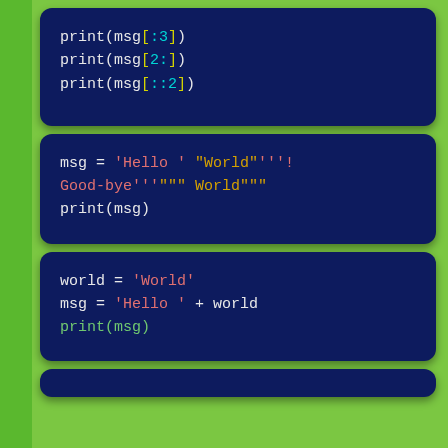[Figure (screenshot): Code block 1: Python string slicing examples: print(msg[:3]), print(msg[2:]), print(msg[::2])]
[Figure (screenshot): Code block 2: Python multi-line string assignment and concatenation: msg = 'Hello ' "World"'''! Good-bye'''""" World""", print(msg)]
[Figure (screenshot): Code block 3: Python string variable assignment and concatenation: world = 'World', msg = 'Hello ' + world, print(msg)]
[Figure (screenshot): Code block 4 (partial): Beginning of another Python code block]